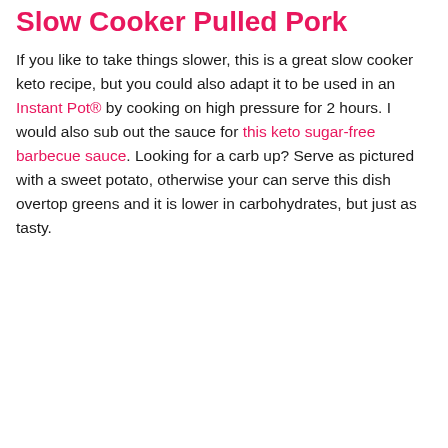Slow Cooker Pulled Pork
If you like to take things slower, this is a great slow cooker keto recipe, but you could also adapt it to be used in an Instant Pot® by cooking on high pressure for 2 hours. I would also sub out the sauce for this keto sugar-free barbecue sauce. Looking for a carb up? Serve as pictured with a sweet potato, otherwise your can serve this dish overtop greens and it is lower in carbohydrates, but just as tasty.